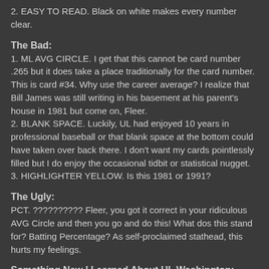2. EASY TO READ. Black on white makes every number clear.
The Bad:
1. ML AVG CIRCLE. I get that this cannot be card number .265 but it does take a place traditionally for the card number. This is card #34. Why use the career average? I realize that Bill James was still writing in his basement at his parent's house in 1981 but come on, Fleer.
2. BLANK SPACE. Luckily, UL had enjoyed 10 years in professional baseball or that blank space at the bottom could have taken over back there. I don't want my cards pointlessly filled but I do enjoy the occasional tidbit or statistical nugget.
3. HIGHLIGHTER YELLOW. Is this 1981 or 1991?
The Ugly:
PCT. ?????????? Fleer, you got it correct in your ridiculous AVG Circle and then you go and do this! What dos this stand for? Batting Percentage? As self-proclaimed stathead, this hurts my feelings.
Something New I Learned About UL Washington: